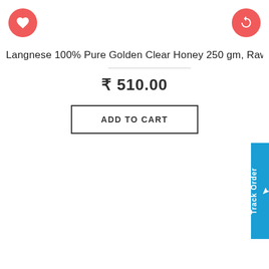[Figure (other): Red circular heart/favorite icon button in top-left corner]
[Figure (other): Red circular refresh/compare icon button in top-right corner]
Langnese 100% Pure Golden Clear Honey 250 gm, Raw ...
₹ 510.00
ADD TO CART
[Figure (other): Track Order vertical tab button on right edge]